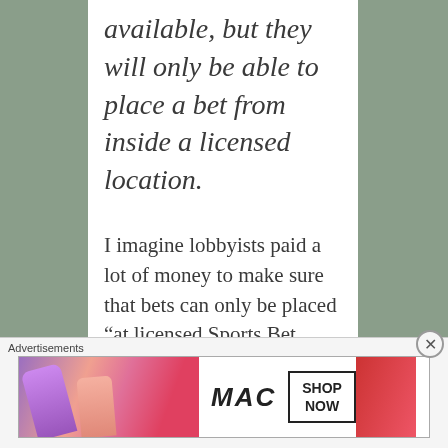available, but they will only be able to place a bet from inside a licensed location.
I imagine lobbyists paid a lot of money to make sure that bets can only be placed “at licensed Sports Bet Montana locations” which means bars, casinos, and restaurants – places that the
Advertisements
[Figure (other): MAC Cosmetics advertisement banner showing lipsticks in purple, pink, and red colors with MAC logo and SHOP NOW button]